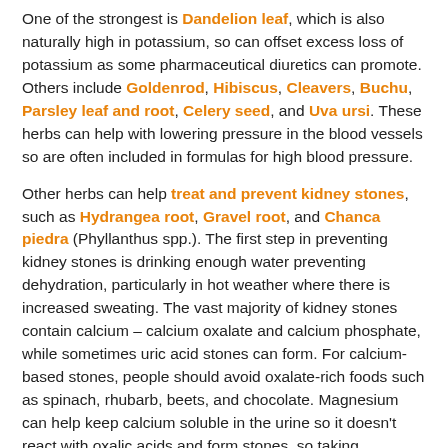One of the strongest is Dandelion leaf, which is also naturally high in potassium, so can offset excess loss of potassium as some pharmaceutical diuretics can promote. Others include Goldenrod, Hibiscus, Cleavers, Buchu, Parsley leaf and root, Celery seed, and Uva ursi. These herbs can help with lowering pressure in the blood vessels so are often included in formulas for high blood pressure.
Other herbs can help treat and prevent kidney stones, such as Hydrangea root, Gravel root, and Chanca piedra (Phyllanthus spp.). The first step in preventing kidney stones is drinking enough water preventing dehydration, particularly in hot weather where there is increased sweating. The vast majority of kidney stones contain calcium – calcium oxalate and calcium phosphate, while sometimes uric acid stones can form. For calcium-based stones, people should avoid oxalate-rich foods such as spinach, rhubarb, beets, and chocolate. Magnesium can help keep calcium soluble in the urine so it doesn't react with oxalic acids and form stones, so taking